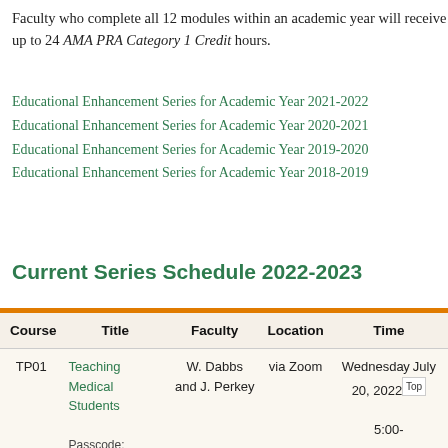Faculty who complete all 12 modules within an academic year will receive up to 24 AMA PRA Category 1 Credit hours.
Educational Enhancement Series for Academic Year 2021-2022
Educational Enhancement Series for Academic Year 2020-2021
Educational Enhancement Series for Academic Year 2019-2020
Educational Enhancement Series for Academic Year 2018-2019
Current Series Schedule 2022-2023
| Course | Title | Faculty | Location | Time |
| --- | --- | --- | --- | --- |
| TP01 | Teaching Medical Students

Passcode:
LOkzaR=8 | W. Dabbs and J. Perkey | via Zoom | Wednesday July 20, 2022

5:00- |